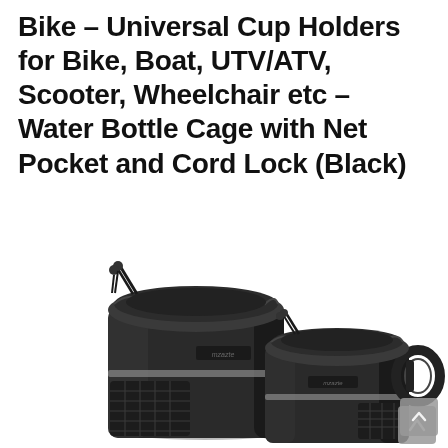Bike – Universal Cup Holders for Bike, Boat, UTV/ATV, Scooter, Wheelchair etc – Water Bottle Cage with Net Pocket and Cord Lock (Black)
[Figure (photo): Two black fabric cup holders/water bottle cages side by side. The left one is taller with a drawstring top, mesh net side pocket, and a small logo label reading 'MZAZTE'. The right one is shorter with a drawstring top, a reflective stripe, a carabiner-style clip handle on the right side, and a small mesh side pocket. Both are dark charcoal/black color with grey reflective accents.]